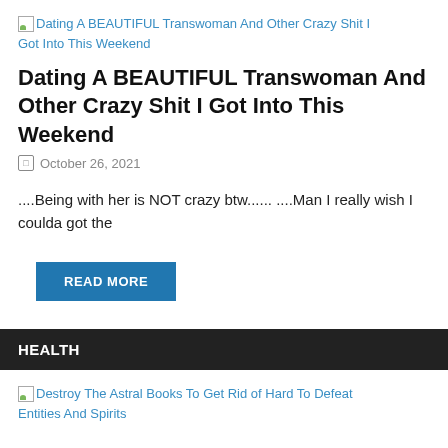[Figure (screenshot): Broken image placeholder with link text: Dating A BEAUTIFUL Transwoman And Other Crazy Shit I Got Into This Weekend]
Dating A BEAUTIFUL Transwoman And Other Crazy Shit I Got Into This Weekend
October 26, 2021
....Being with her is NOT crazy btw...... ....Man I really wish I coulda got the
READ MORE
HEALTH
[Figure (screenshot): Broken image placeholder with link text: Destroy The Astral Books To Get Rid of Hard To Defeat Entities And Spirits]